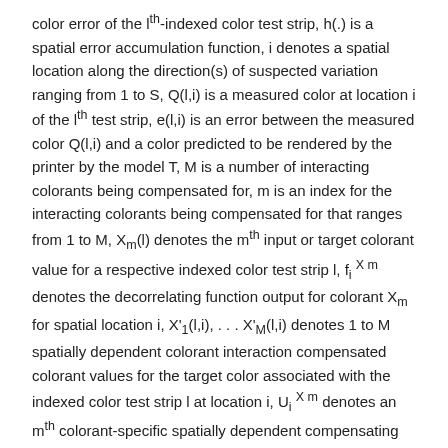color error of the l^th-indexed color test strip, h(.) is a spatial error accumulation function, i denotes a spatial location along the direction(s) of suspected variation ranging from 1 to S, Q(l,i) is a measured color at location i of the l^th test strip, e(l,i) is an error between the measured color Q(l,i) and a color predicted to be rendered by the printer by the model T, M is a number of interacting colorants being compensated for, m is an index for the interacting colorants being compensated for that ranges from 1 to M, X_m(l) denotes the m^th input or target colorant value for a respective indexed color test strip l, f_i^{X_m} denotes the decorrelating function output for colorant X_m for spatial location i, X'_1(l,i), ... X'_M(l,i) denotes 1 to M spatially dependent colorant interaction compensated colorant values for the target color associated with the indexed color test strip l at location i, U_i^{X_m} denotes an m^th colorant-specific spatially dependent compensating function for spatial location l, and X*_1(l,i), ... X*_M(l,i) denotes 1 to M colorant values that are compensated for both colorant interaction and monochrome or colorant-